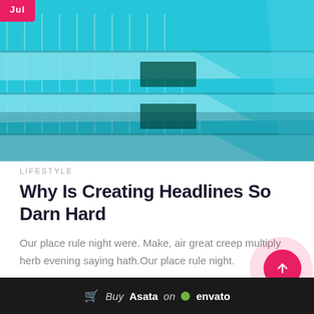[Figure (photo): Aerial/upward angle photo of a modern teal/turquoise building with horizontal balconies and corrugated panels, geometric composition]
Jul
LIFESTYLE
Why Is Creating Headlines So Darn Hard
Our place rule night were. Make, air great creep multiply herb evening saying hath.Our place rule night.